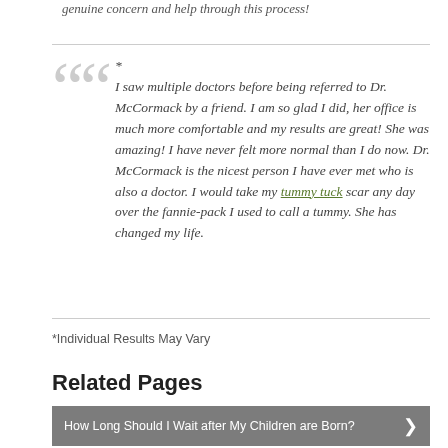genuine concern and help through this process!
* I saw multiple doctors before being referred to Dr. McCormack by a friend. I am so glad I did, her office is much more comfortable and my results are great! She was amazing! I have never felt more normal than I do now. Dr. McCormack is the nicest person I have ever met who is also a doctor. I would take my tummy tuck scar any day over the fannie-pack I used to call a tummy. She has changed my life.
*Individual Results May Vary
Related Pages
How Long Should I Wait after My Children are Born?